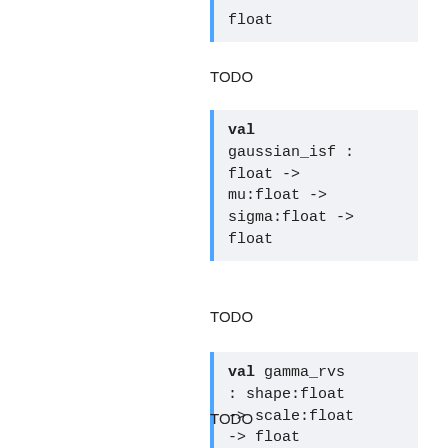float
TODO
val gaussian_isf : float -> mu:float -> sigma:float -> float
TODO
val gamma_rvs : shape:float -> scale:float -> float
TODO